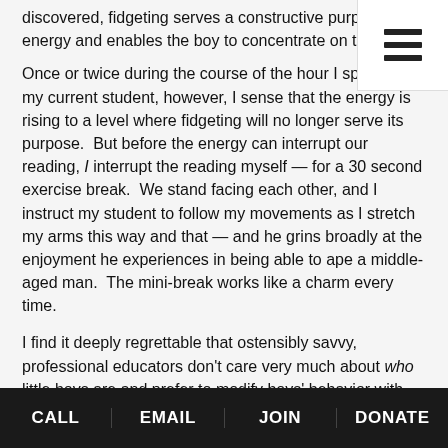discovered, fidgeting serves a constructive purpose:  it d… energy and enables the boy to concentrate on the book…
Once or twice during the course of the hour I spend with my current student, however, I sense that the energy is rising to a level where fidgeting will no longer serve its purpose.  But before the energy can interrupt our reading, I interrupt the reading myself — for a 30 second exercise break.  We stand facing each other, and I instruct my student to follow my movements as I stretch my arms this way and that — and he grins broadly at the enjoyment he experiences in being able to ape a middle-aged man.  The mini-break works like a charm every time.
I find it deeply regrettable that ostensibly savvy, professional educators don't care very much about who little boys are and prefer to modify boys' behavior with drugs.
During subsequent Power Lunch sessions so far, my student and
CALL   EMAIL   JOIN   DONATE